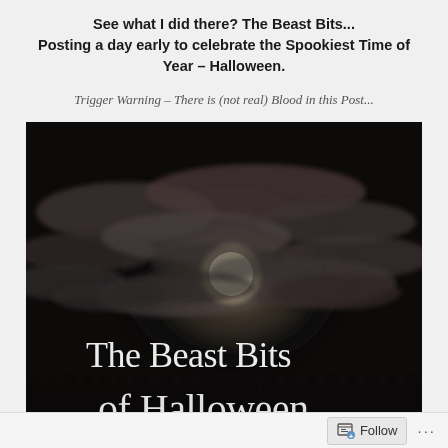See what I did there? The Beast Bits... Posting a day early to celebrate the Spookiest Time of Year – Halloween.
Trigger Warning – There is (not real) Blood in this Post...
[Figure (photo): Dark nighttime photo with a full moon partially obscured by clouds, silhouettes of trees at bottom. White text overlay reads 'The Beast Bits of Halloween']
Follow ...